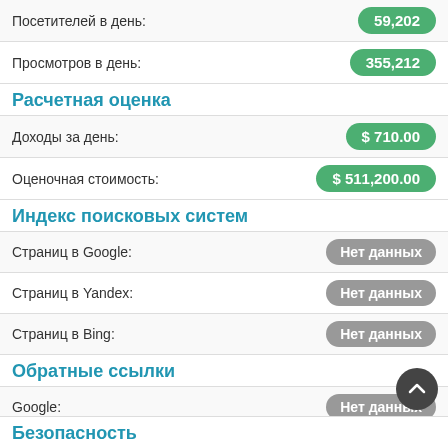Посетителей в день: 59,202
Просмотров в день: 355,212
Расчетная оценка
Доходы за день: $ 710.00
Оценочная стоимость: $ 511,200.00
Индекс поисковых систем
Страниц в Google: Нет данных
Страниц в Yandex: Нет данных
Страниц в Bing: Нет данных
Обратные ссылки
Google: Нет данных
Bing: Нет данных
Alexa: Нет данных
Безопасность